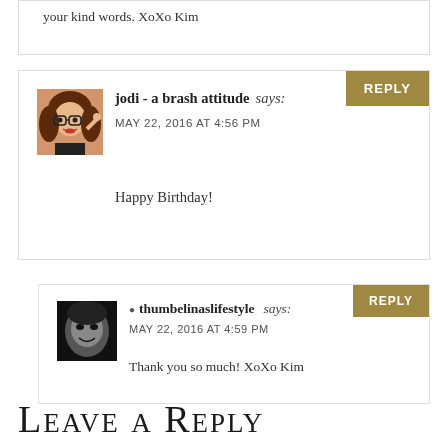your kind words. XoXo Kim
jodi - a brash attitude says:
MAY 22, 2016 AT 4:56 PM
Happy Birthday!
thumbelinaslifestyle says:
MAY 22, 2016 AT 4:59 PM
Thank you so much! XoXo Kim
Leave a Reply